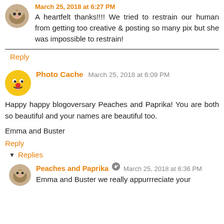A heartfelt thanks!!!! We tried to restrain our human from getting too creative & posting so many pix but she was impossible to restrain!
Reply
Photo Cache  March 25, 2018 at 6:09 PM
Happy happy blogoversary Peaches and Paprika! You are both so beautiful and your names are beautiful too.
Emma and Buster
Reply
Replies
Peaches and Paprika  March 25, 2018 at 6:36 PM
Emma and Buster we really appurrreciate your